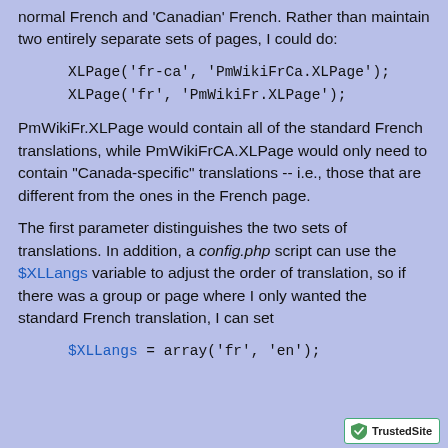normal French and 'Canadian' French. Rather than maintain two entirely separate sets of pages, I could do:
XLPage('fr-ca', 'PmWikiFrCa.XLPage');
XLPage('fr', 'PmWikiFr.XLPage');
PmWikiFr.XLPage would contain all of the standard French translations, while PmWikiFrCA.XLPage would only need to contain "Canada-specific" translations -- i.e., those that are different from the ones in the French page.
The first parameter distinguishes the two sets of translations. In addition, a config.php script can use the $XLLangs variable to adjust the order of translation, so if there was a group or page where I only wanted the standard French translation, I can set
$XLLangs = array('fr', 'en');